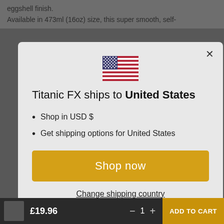eggshell finish.
Available in 473ml (16oz) size, this super smooth, self-
[Figure (screenshot): Modal dialog with US flag, title 'Titanic FX ships to United States', bullet points, Shop now button, and Change shipping country link]
Shop in USD $
Get shipping options for United States
£19.96
1
ADD TO CART